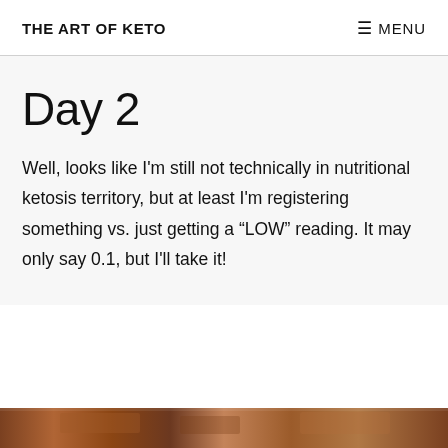THE ART OF KETO   ☰ MENU
Day 2
Well, looks like I'm still not technically in nutritional ketosis territory, but at least I'm registering something vs. just getting a “LOW” reading. It may only say 0.1, but I'll take it!
[Figure (photo): Partial image of food visible at bottom of page]